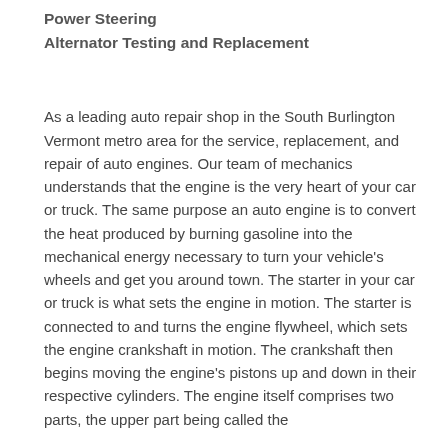Power Steering
Alternator Testing and Replacement
As a leading auto repair shop in the South Burlington Vermont metro area for the service, replacement, and repair of auto engines. Our team of mechanics understands that the engine is the very heart of your car or truck. The same purpose an auto engine is to convert the heat produced by burning gasoline into the mechanical energy necessary to turn your vehicle's wheels and get you around town. The starter in your car or truck is what sets the engine in motion. The starter is connected to and turns the engine flywheel, which sets the engine crankshaft in motion. The crankshaft then begins moving the engine's pistons up and down in their respective cylinders. The engine itself comprises two parts, the upper part being called the